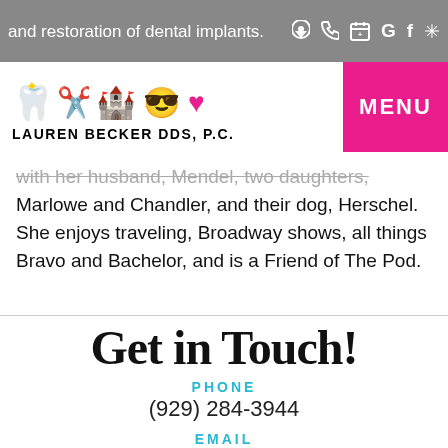and restoration of dental implants.
[Figure (logo): Lauren Becker DDS P.C. logo with colorful dental icons (tooth, scissors, castle, face, heart) and practice name]
with her husband, Mendel, two daughters, Marlowe and Chandler, and their dog, Herschel. She enjoys traveling, Broadway shows, all things Bravo and Bachelor, and is a Friend of The Pod.
Get in Touch!
PHONE
(929) 284-3944
EMAIL